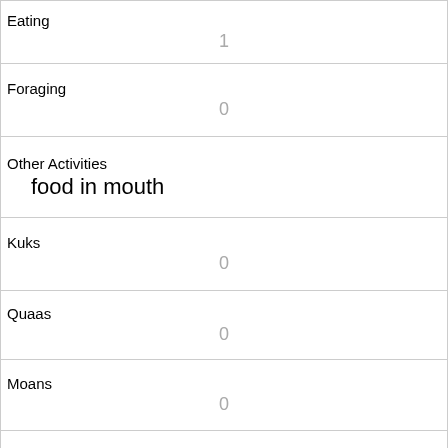| Field | Value |
| --- | --- |
| Eating | 1 |
| Foraging | 0 |
| Other Activities | food in mouth |
| Kuks | 0 |
| Quaas | 0 |
| Moans | 0 |
| Tail flags | 0 |
| Tail twitches | 0 |
| Approaches | 0 |
| Indifferent | 0 |
| Runs from |  |